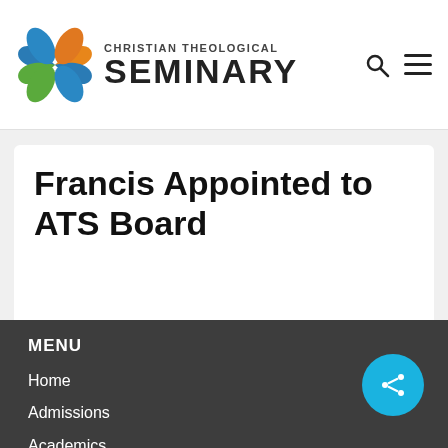Christian Theological Seminary
Francis Appointed to ATS Board
MENU
Home
Admissions
Academics